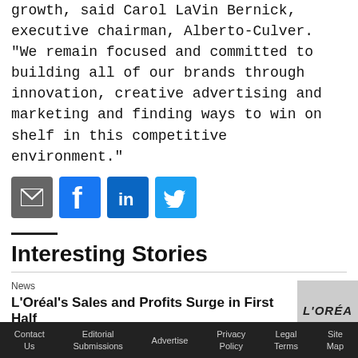growth, said Carol LaVin Bernick, executive chairman, Alberto-Culver. "We remain focused and committed to building all of our brands through innovation, creative advertising and marketing and finding ways to win on shelf in this competitive environment."
[Figure (infographic): Four social sharing icon buttons: email (grey), Facebook (blue), LinkedIn (blue), Twitter (blue)]
Interesting Stories
News
L'Oréal's Sales and Profits Surge in First Half
[Figure (logo): L'OREAL logo on grey background]
Contact Us   Editorial Submissions   Advertise   Privacy Policy   Legal Terms   Site Map